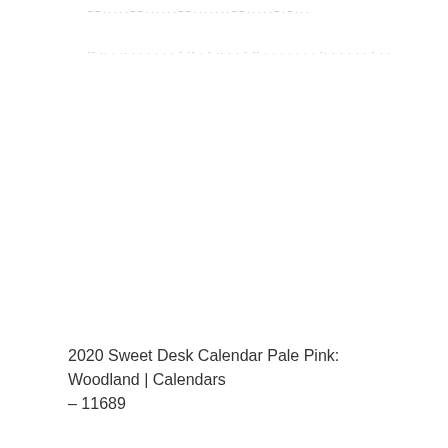– – . . . . . – – . . . . . . – – . . . . . . . – – . . . . . – . – . . .
-- .. . .. . . . . . . - -- . - .. . . - -- . . . . . . . -. . . . .  . - . .
2020 Sweet Desk Calendar Pale Pink: Woodland | Calendars – 11689